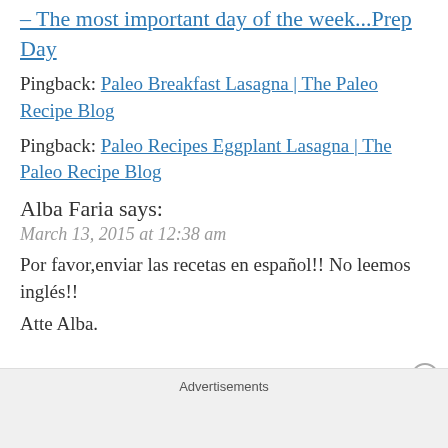– The most important day of the week...Prep Day (link, truncated at top)
Pingback: Paleo Breakfast Lasagna | The Paleo Recipe Blog
Pingback: Paleo Recipes Eggplant Lasagna | The Paleo Recipe Blog
Alba Faria says:
March 13, 2015 at 12:38 am
Por favor,enviar las recetas en español!! No leemos inglés!!
Atte Alba.
Advertisements